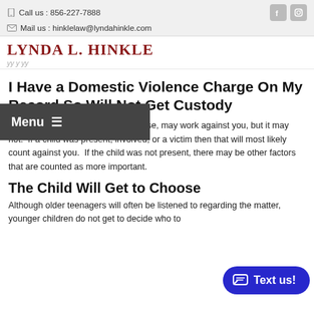Call us : 856-227-7888
Mail us : hinklelaw@lyndahinkle.com
LYNDA L. HINKLE
I Have a Domestic Violence Charge On My Record So Will Not Get Custody
A DV charge, or other criminal offense, may work against you, but it may not.  If a child was present, involved, or a victim then that will most likely count against you.  If the child was not present, there may be other factors that are counted as more important.
The Child Will Get to Choose
Although older teenagers will often be listened to regarding the matter, younger children do not get to decide who to